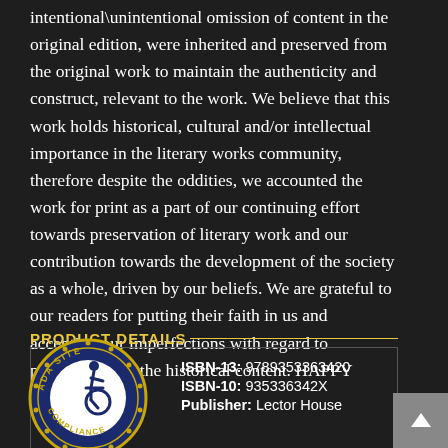intentional\unintentional omission of content in the original edition, were inherited and preserved from the original work to maintain the authenticity and construct, relevant to the work. We believe that this work holds historical, cultural and/or intellectual importance in the literary works community, therefore despite the oddities, we accounted the work for print as a part of our continuing effort towards preservation of literary work and our contribution towards the development of the society as a whole, driven by our beliefs. We are grateful to our readers for putting their faith in us and accepting our imperfections with regard to preservation of the historical content. HAPPY READING.
PRODUCT DETAILS
[Figure (logo): ADA Site Compliance badge — circular seal with wheelchair accessibility icon in center, gold text reading 'ADA SITE COMPLIANCE' around the border with decorative dots]
ISBN-13: 9789353363420
ISBN-10: 935336342X
Publisher: Lector House